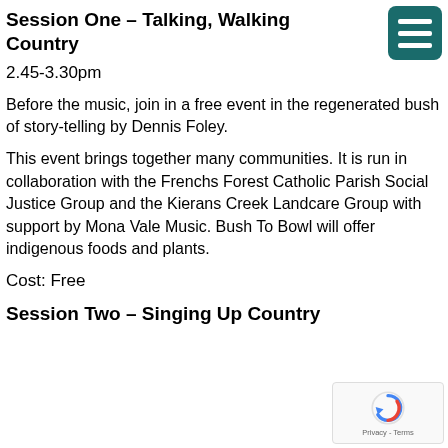Session One – Talking, Walking Country
2.45-3.30pm
Before the music, join in a free event in the regenerated bush of story-telling by Dennis Foley.
This event brings together many communities. It is run in collaboration with the Frenchs Forest Catholic Parish Social Justice Group and the Kierans Creek Landcare Group with support by Mona Vale Music. Bush To Bowl will offer indigenous foods and plants.
Cost: Free
Session Two – Singing Up Country
[Figure (other): Hamburger menu icon — teal/dark cyan rounded square with three white horizontal bars]
[Figure (other): Google reCAPTCHA badge with circular arrow logo and Privacy - Terms text]